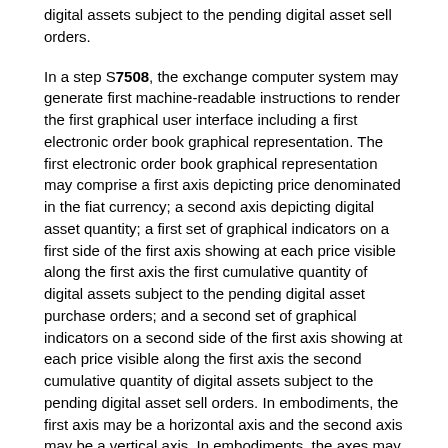digital assets subject to the pending digital asset sell orders.
In a step S7508, the exchange computer system may generate first machine-readable instructions to render the first graphical user interface including a first electronic order book graphical representation. The first electronic order book graphical representation may comprise a first axis depicting price denominated in the fiat currency; a second axis depicting digital asset quantity; a first set of graphical indicators on a first side of the first axis showing at each price visible along the first axis the first cumulative quantity of digital assets subject to the pending digital asset purchase orders; and a second set of graphical indicators on a second side of the first axis showing at each price visible along the first axis the second cumulative quantity of digital assets subject to the pending digital asset sell orders. In embodiments, the first axis may be a horizontal axis and the second axis may be a vertical axis. In embodiments, the axes may be flipped. In embodiments, the second axis may have a logarithmic scale.
In embodiments, the machine-readable instructions may